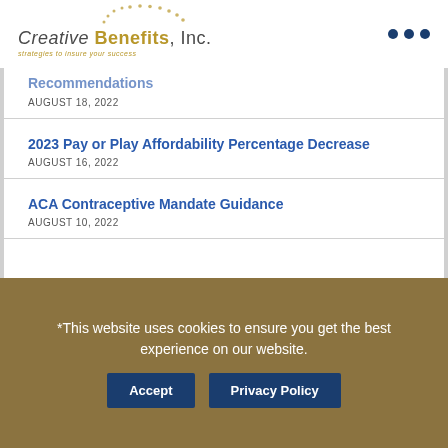Creative Benefits, Inc. — strategies to insure your success
Recommendations
AUGUST 18, 2022
2023 Pay or Play Affordability Percentage Decrease
AUGUST 16, 2022
ACA Contraceptive Mandate Guidance
AUGUST 10, 2022
*This website uses cookies to ensure you get the best experience on our website.